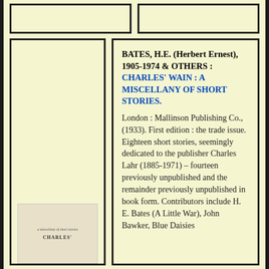[Figure (other): Empty top-left box placeholder]
[Figure (other): Empty top-right box placeholder]
[Figure (photo): Book cover image for Charles' Wain showing partial title text]
BATES, H.E. (Herbert Ernest), 1905-1974 & OTHERS : CHARLES' WAIN : A MISCELLANY OF SHORT STORIES. London : Mallinson Publishing Co., (1933). First edition : the trade issue. Eighteen short stories, seemingly dedicated to the publisher Charles Lahr (1885-1971) – fourteen previously unpublished and the remainder previously unpublished in book form. Contributors include H. E. Bates (A Little War), John Bawker, Blue Daisies